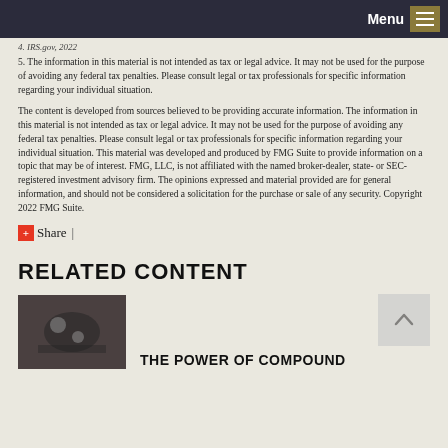Menu
4. IRS.gov, 2022
5. The information in this material is not intended as tax or legal advice. It may not be used for the purpose of avoiding any federal tax penalties. Please consult legal or tax professionals for specific information regarding your individual situation.
The content is developed from sources believed to be providing accurate information. The information in this material is not intended as tax or legal advice. It may not be used for the purpose of avoiding any federal tax penalties. Please consult legal or tax professionals for specific information regarding your individual situation. This material was developed and produced by FMG Suite to provide information on a topic that may be of interest. FMG, LLC, is not affiliated with the named broker-dealer, state- or SEC-registered investment advisory firm. The opinions expressed and material provided are for general information, and should not be considered a solicitation for the purchase or sale of any security. Copyright 2022 FMG Suite.
Share |
RELATED CONTENT
THE POWER OF COMPOUND